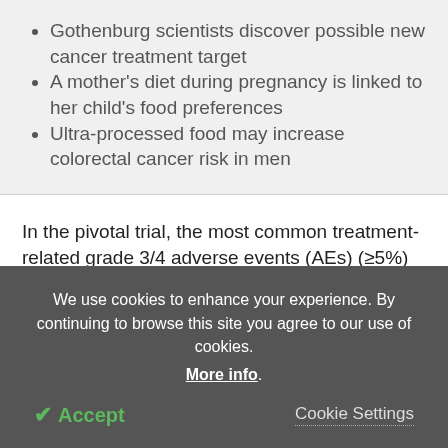Gothenburg scientists discover possible new cancer treatment target
A mother's diet during pregnancy is linked to her child's food preferences
Ultra-processed food may increase colorectal cancer risk in men
In the pivotal trial, the most common treatment-related grade 3/4 adverse events (AEs) (≥5%) for Afinitor and placebo, respectively, were infections
We use cookies to enhance your experience. By continuing to browse this site you agree to our use of cookies. More info.
✓ Accept
Cookie Settings